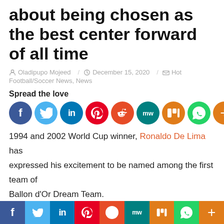about being chosen as the best center forward of all time
Oladipupo Mojeed / December 15, 2020 / Hot Football/Soccer News, News
Spread the love
[Figure (infographic): Row of social media share buttons: Facebook, Twitter, LinkedIn, Pinterest, Reddit, MeWe, Mix, WhatsApp, More (+)]
1994 and 2002 World Cup winner, Ronaldo De Lima has expressed his excitement to be named among the first team of Ballon d'Or Dream Team.
The Brazilian legend is among the three forwards that include Lionel Messi and Cristiano Ronaldo on the first team list.
He took to his social media page to appreciate the organizer
[Figure (infographic): Bottom navigation bar with social media icons: Facebook, Twitter, LinkedIn, Pinterest, Reddit, MeWe, Mix, WhatsApp, More (+)]